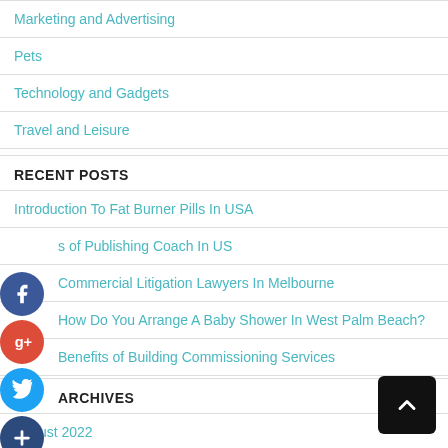Marketing and Advertising
Pets
Technology and Gadgets
Travel and Leisure
RECENT POSTS
Introduction To Fat Burner Pills In USA
s of Publishing Coach In US
Commercial Litigation Lawyers In Melbourne
How Do You Arrange A Baby Shower In West Palm Beach?
Benefits of Building Commissioning Services
ARCHIVES
August 2022